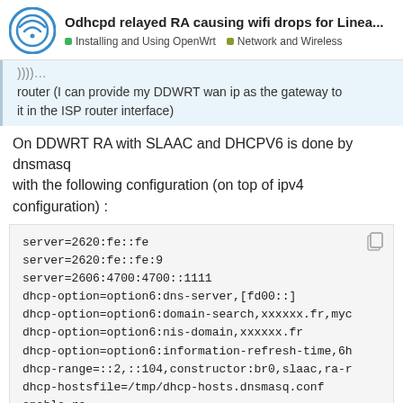Odhcpd relayed RA causing wifi drops for Linea... | Installing and Using OpenWrt | Network and Wireless
router (I can provide my DDWRT wan ip as the gateway to it in the ISP router interface)
On DDWRT RA with SLAAC and DHCPV6 is done by dnsmasq with the following configuration (on top of ipv4 configuration) :
server=2620:fe::fe
server=2620:fe::fe:9
server=2606:4700:4700::1111
dhcp-option=option6:dns-server,[fd00::]
dhcp-option=option6:domain-search,xxxxxx.fr,myc
dhcp-option=option6:nis-domain,xxxxxx.fr
dhcp-option=option6:information-refresh-time,6h
dhcp-range=::2,::104,constructor:br0,slaac,ra-r
dhcp-hostsfile=/tmp/dhcp-hosts.dnsmasq.conf
enable-ra
I also have radvd advertising specific route how to do it in dnsmasq ) for wireguard an
1 / 7